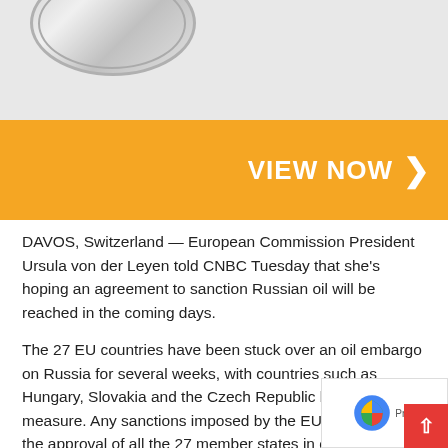[Figure (photo): Partial view of a silver coin against a light gray background]
[Figure (other): Orange banner advertisement with VIEW NOW button and right-pointing chevron arrow]
DAVOS, Switzerland — European Commission President Ursula von der Leyen told CNBC Tuesday that she's hoping an agreement to sanction Russian oil will be reached in the coming days.
The 27 EU countries have been stuck over an oil embargo on Russia for several weeks, with countries such as Hungary, Slovakia and the Czech Republic blocking the measure. Any sanctions imposed by the EU need to have the approval of all the 27 member states in order to be implemented.
"I hope we are talking about days. So what we are looking at is one or two member states that are